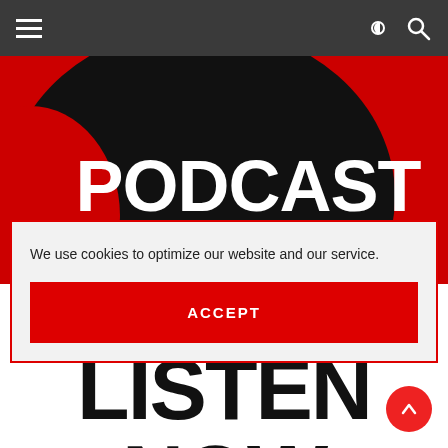Navigation bar with hamburger menu, dark/light mode toggle, and search icon
[Figure (illustration): Podcast hero banner with red and black design, large bold white text reading PODCAST]
We use cookies to optimize our website and our service.
ACCEPT
LISTEN NOW